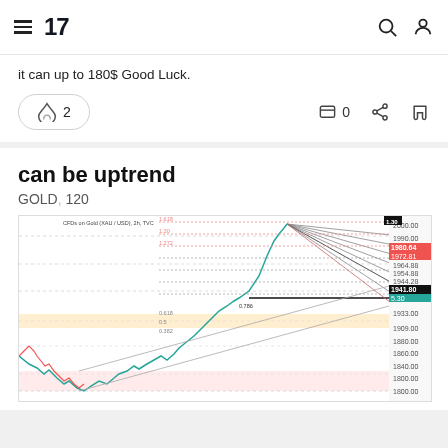TradingView
it can up to 180$ Good Luck.
🚀 2   💬 0
can be uptrend
GOLD, 120
[Figure (continuous-plot): Gold (XAU/USD) price chart on 120-minute timeframe showing an uptrend with Fibonacci retracement levels, ascending channel lines, and price labels on the right axis ranging approximately 1800 to 2000. An orange-highlighted support zone is visible. Price action shows a recent sharp upward move with fan-shaped projection lines.]